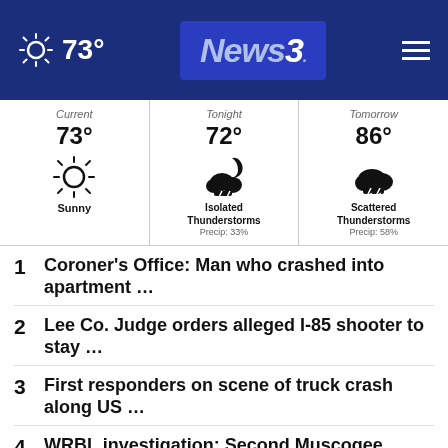73° News3 [hamburger menu]
[Figure (infographic): Weather widget showing Current 73° Sunny, Tonight 72° Isolated Thunderstorms Precip: 33%, Tomorrow 86° Scattered Thunderstorms Precip: 58%]
1 Coroner's Office: Man who crashed into apartment ...
2 Lee Co. Judge orders alleged I-85 shooter to stay ...
3 First responders on scene of truck crash along US ...
4 WRBL investigation: Second Muscogee County Jail inmate ...